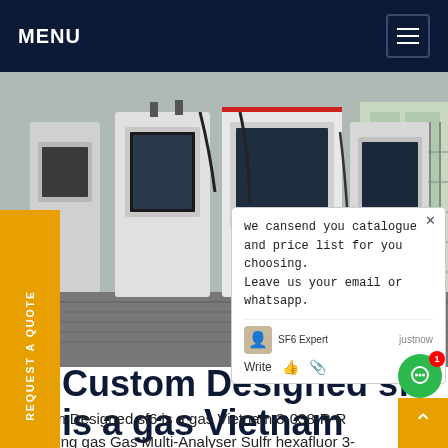MENU
[Figure (photo): Industrial SF6 gas analysis equipment — large white/grey cabinet-style machines in a factory or testing facility, with computer screens and cable connections visible.]
we cansend you catalogue and price list for you choosing. Leave us your email or whatsapp.
SF6 Expert   justnow
Write
Custom Designed sf6 is a gas Vietnam
Custom Designed sf6 is a gas Vietnam,3-038-R-R insulating gas Gas Multi-Analyser Sulfr hexafluor 3-038R-R. This multi-functional device allows the